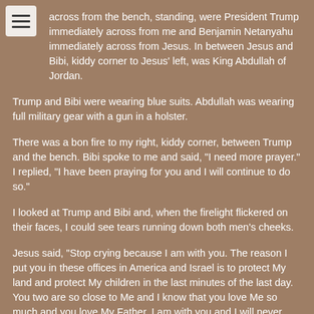[Figure (other): Hamburger menu icon button in top-left corner]
across from the bench, standing, were President Trump immediately across from me and Benjamin Netanyahu immediately across from Jesus. In between Jesus and Bibi, kiddy corner to Jesus' left, was King Abdullah of Jordan.
Trump and Bibi were wearing blue suits. Abdullah was wearing full military gear with a gun in a holster.
There was a bon fire to my right, kiddy corner, between Trump and the bench. Bibi spoke to me and said, "I need more prayer." I replied, "I have been praying for you and I will continue to do so."
I looked at Trump and Bibi and, when the firelight flickered on their faces, I could see tears running down both men's cheeks.
Jesus said, “Stop crying because I am with you. The reason I put you in these offices in America and Israel is to protect My land and protect My children in the last minutes of the last day. You two are so close to Me and I know that you love Me so much and you love My Father. I am with you and I will never leave you. You have My protection and My Father’s blessing.”